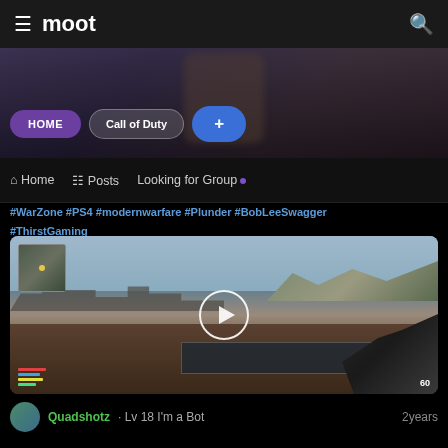moot
[Figure (screenshot): Hero banner with HOME, Call of Duty, and + pills over a blurred game background]
Home  Posts  Looking for Group
#WarZone #PS4 #modernwarfare #Plunder #BobLeeSwagger #ThirstGaming
[Figure (screenshot): Call of Duty Warzone gameplay video thumbnail with play button overlay, minimap in top-left corner, HUD elements visible]
Quadshotz · Lv 18  I'm a Bot    2years